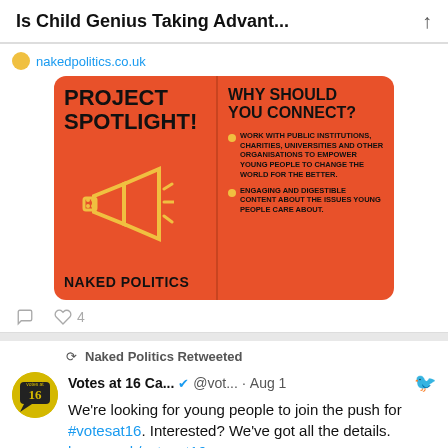Is Child Genius Taking Advant...
nakedpolitics.co.uk
[Figure (infographic): Orange promotional card split in two panels. Left panel: 'PROJECT SPOTLIGHT!' title with megaphone icon and 'NAKED POLITICS' bottom text. Right panel: 'WHY SHOULD YOU CONNECT?' heading with two bullet points about working with public institutions and engaging content for young people.]
4
Naked Politics Retweeted
Votes at 16 Ca... @vot... · Aug 1
We're looking for young people to join the push for #votesat16. Interested? We've got all the details. byc.org.uk/votesat16
[Figure (infographic): Yellow/green promotional image with 'Let's end' text and black rectangles, Be Seen branding visible at right edge.]